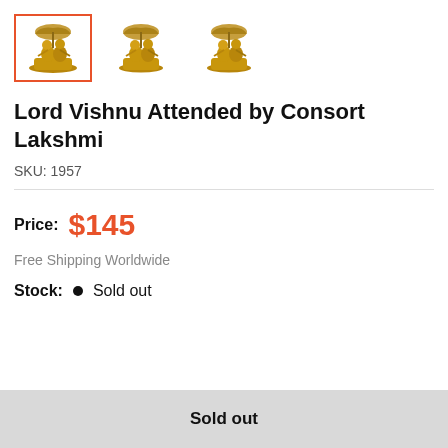[Figure (photo): Three small golden brass statues of Lord Vishnu attended by Lakshmi, shown as thumbnail images. The first is selected with an orange border.]
Lord Vishnu Attended by Consort Lakshmi
SKU: 1957
Price: $145
Free Shipping Worldwide
Stock: • Sold out
Sold out